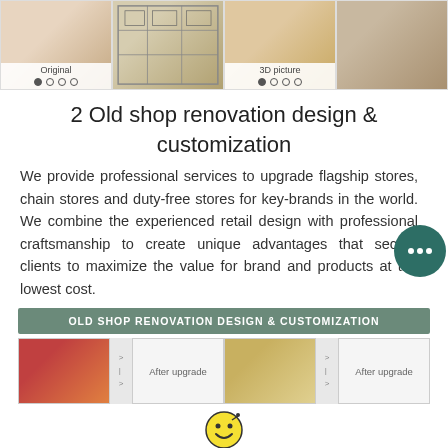[Figure (photo): Four store photos at top: original store, floor plan/blueprint, 3D picture, and renovated store interior]
2  Old shop renovation design & customization
We provide professional services to upgrade flagship stores, chain stores and duty-free stores for key-brands in the world. We combine the experienced retail design with professional craftsmanship to create unique advantages that secure clients to maximize the value for brand and products at the lowest cost.
[Figure (infographic): Chat bubble icon with three dots, teal/dark green color]
OLD SHOP RENOVATION DESIGN & CUSTOMIZATION
[Figure (photo): Before and after renovation photos of store interiors with After upgrade labels]
[Figure (illustration): Yellow smiley face emoji icon]
Get a free catalog